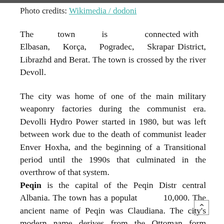Photo credits: Wikimedia / dodoni
The town is connected with Elbasan, Korça, Pogradec, Skrapar District, Librazhd and Berat. The town is crossed by the river Devoll.
The city was home of one of the main military weaponry factories during the communist era. Devolli Hydro Power started in 1980, but was left between work due to the death of communist leader Enver Hoxha, and the beginning of a Transitional period until the 1990s that culminated in the overthrow of that system.
Peqin is the capital of the Peqin Distr central Albania. The town has a populat 10,000. The ancient name of Peqin was Claudiana. The city's modern name derives from the Ottoman form Beklevin, which means a place